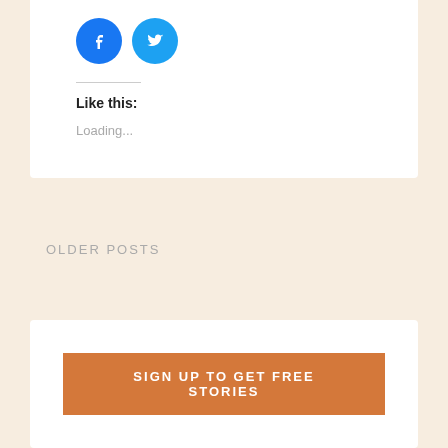[Figure (logo): Facebook circular icon (blue background with white F) and Twitter circular icon (light blue background with white bird)]
Like this:
Loading...
OLDER POSTS
SIGN UP TO GET FREE STORIES